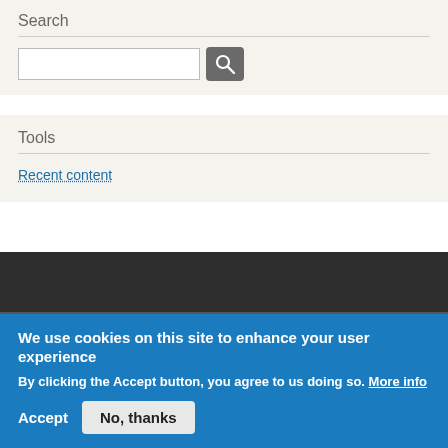Search
[Figure (screenshot): Search input box with a magnifying glass button]
Tools
Recent content
We use cookies on this site to enhance your user experience
By clicking the Accept button, you agree to us doing so. More info
Accept   No, thanks